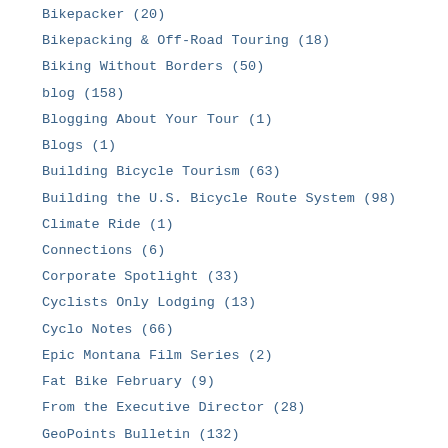Bikepacker (20)
Bikepacking & Off-Road Touring (18)
Biking Without Borders (50)
blog (158)
Blogging About Your Tour (1)
Blogs (1)
Building Bicycle Tourism (63)
Building the U.S. Bicycle Route System (98)
Climate Ride (1)
Connections (6)
Corporate Spotlight (33)
Cyclists Only Lodging (13)
Cyclo Notes (66)
Epic Montana Film Series (2)
Fat Bike February (9)
From the Executive Director (28)
GeoPoints Bulletin (132)
Guest Posts (66)
Guided Tour (1)
Holiday Campaign (3)
How to Videos (3)